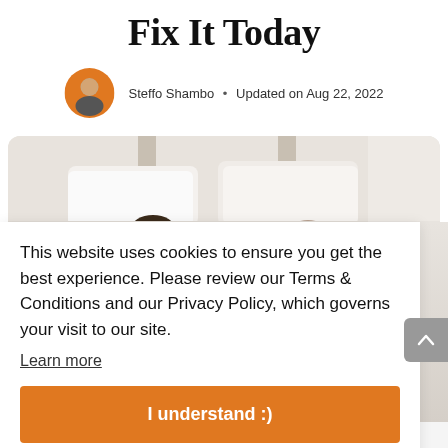Fix It Today
Steffo Shambo · Updated on Aug 22, 2022
[Figure (photo): Photo of two people lying in bed with white pillows, viewed from above, with a wooden headboard visible]
This website uses cookies to ensure you get the best experience. Please review our Terms & Conditions and our Privacy Policy, which governs your visit to our site.
Learn more
I understand :)
Love. It can be the best feeling in the